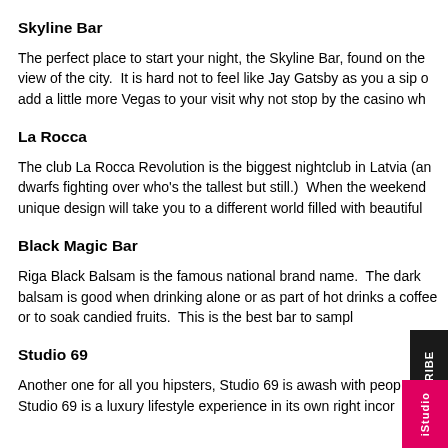Skyline Bar
The perfect place to start your night, the Skyline Bar, found on the view of the city.  It is hard not to feel like Jay Gatsby as you a sip o add a little more Vegas to your visit why not stop by the casino wh
La Rocca
The club La Rocca Revolution is the biggest nightclub in Latvia (an dwarfs fighting over who's the tallest but still.)  When the weekend unique design will take you to a different world filled with beautiful
Black Magic Bar
Riga Black Balsam is the famous national brand name.  The dark balsam is good when drinking alone or as part of hot drinks a coffee or to soak candied fruits.  This is the best bar to sampl
Studio 69
Another one for all you hipsters, Studio 69 is awash with peop Studio 69 is a luxury lifestyle experience in its own right incor